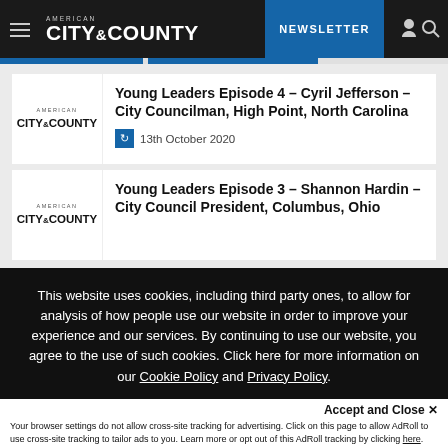AMERICAN CITY & COUNTY — NEWSLETTER
Young Leaders Episode 4 – Cyril Jefferson – City Councilman, High Point, North Carolina
13th October 2020
Young Leaders Episode 3 – Shannon Hardin – City Council President, Columbus, Ohio
This website uses cookies, including third party ones, to allow for analysis of how people use our website in order to improve your experience and our services. By continuing to use our website, you agree to the use of such cookies. Click here for more information on our Cookie Policy and Privacy Policy.
Accept and Close ✕
Your browser settings do not allow cross-site tracking for advertising. Click on this page to allow AdRoll to use cross-site tracking to tailor ads to you. Learn more or opt out of this AdRoll tracking by clicking here. This message only appears once.